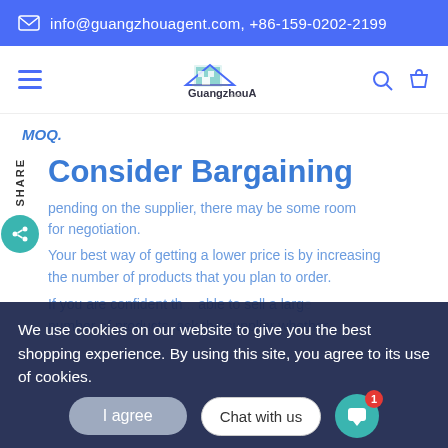info@guangzhouagent.com, +86-159-0202-2199
[Figure (logo): GuangzhouAgent.com logo with building icon]
MOQ.
Consider Bargaining
pending on the supplier, there may be some room for negotiation.
Your best way of getting a lower price is by increasing the number of products that you plan to order.
We use cookies on our website to give you the best shopping experience. By using this site, you agree to its use of cookies.
If you are confident th... able to sell a large number of products, ask the supplier whether